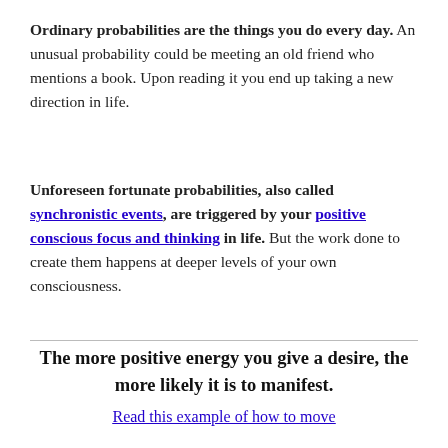Ordinary probabilities are the things you do every day. An unusual probability could be meeting an old friend who mentions a book. Upon reading it you end up taking a new direction in life.
Unforeseen fortunate probabilities, also called synchronistic events, are triggered by your positive conscious focus and thinking in life. But the work done to create them happens at deeper levels of your own consciousness.
The more positive energy you give a desire, the more likely it is to manifest.
Read this example of how to move